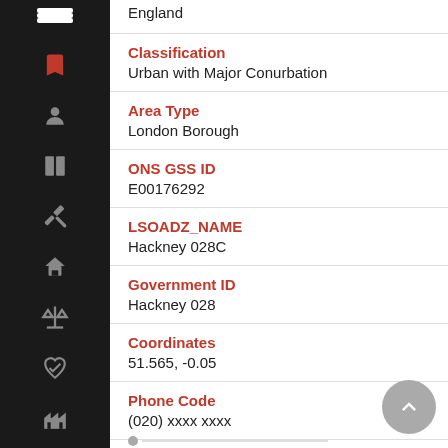England
Classification
Urban with Major Conurbation
Area Type
London Borough
ONS GSS ID
E00176292
LSOADZ_NAME
Hackney 028C
Government ID
Hackney 028
Coordinates
51.565, -0.05
Phone Code
(020) xxxx xxxx